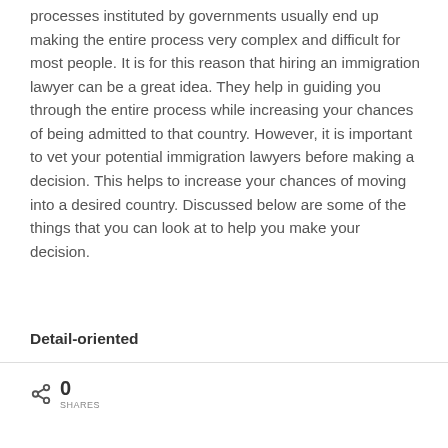processes instituted by governments usually end up making the entire process very complex and difficult for most people. It is for this reason that hiring an immigration lawyer can be a great idea. They help in guiding you through the entire process while increasing your chances of being admitted to that country. However, it is important to vet your potential immigration lawyers before making a decision. This helps to increase your chances of moving into a desired country. Discussed below are some of the things that you can look at to help you make your decision.
Detail-oriented
0 SHARES